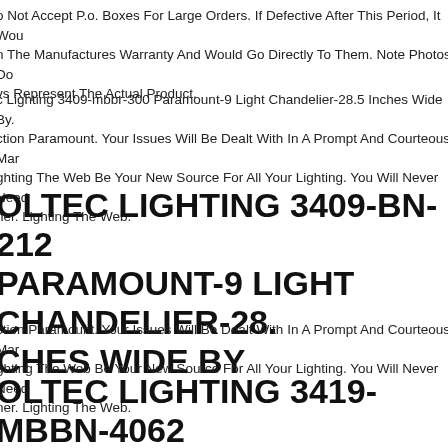o Not Accept P.o. Boxes For Large Orders. If Defective After This Period, It Would Fall n The Manufactures Warranty And Would Go Directly To Them. Note Photos Do ys Represent The Actual Product.
c Lighting 3409-mbbr-300 Paramount-9 Light Chandelier-28.5 Inches Wide By. ction Paramount. Your Issues Will Be Dealt With In A Prompt And Courteous Man. ghting The Web Be Your New Source For All Your Lighting. You Will Never Need ner. Lighting The Web.
OLTEC LIGHTING 3409-BN-212 PARAMOUNT-9 LIGHT CHANDELIER-28. CHES WIDE BY
ction Paramount. Your Issues Will Be Dealt With In A Prompt And Courteous Man. ghting The Web Be Your New Source For All Your Lighting. You Will Never Need ner. Lighting The Web.
OLTEC LIGHTING 3419-MBBN-4062 PARAMOUNT - 9 LIGHT CHANDELIER-36. CHES TALL